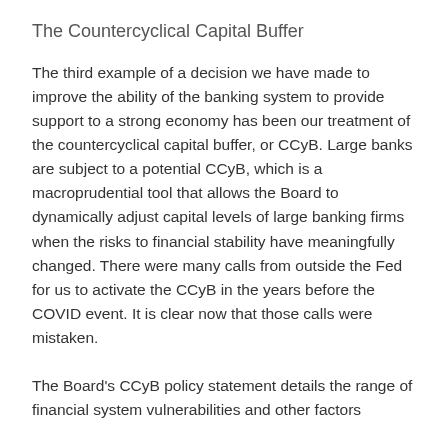The Countercyclical Capital Buffer
The third example of a decision we have made to improve the ability of the banking system to provide support to a strong economy has been our treatment of the countercyclical capital buffer, or CCyB. Large banks are subject to a potential CCyB, which is a macroprudential tool that allows the Board to dynamically adjust capital levels of large banking firms when the risks to financial stability have meaningfully changed. There were many calls from outside the Fed for us to activate the CCyB in the years before the COVID event. It is clear now that those calls were mistaken.
The Board's CCyB policy statement details the range of financial system vulnerabilities and other factors